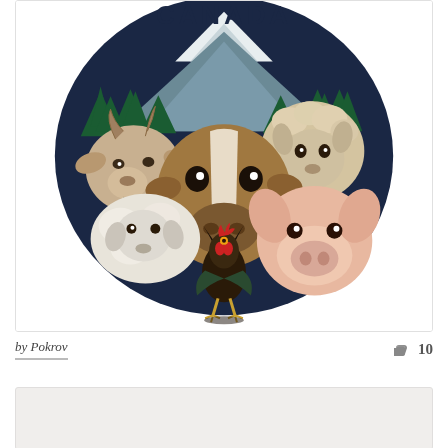[Figure (illustration): Illustrated design showing farm animals: a goat (upper left), a cow (center), an alpaca (upper right), a sheep (lower left), a pig (lower right), and a rooster (front center). Behind the animals is a circular design with pine trees and a snow-capped mountain. Partial text 'CANADA' or similar at the top is partially cropped.]
by Pokrov
10